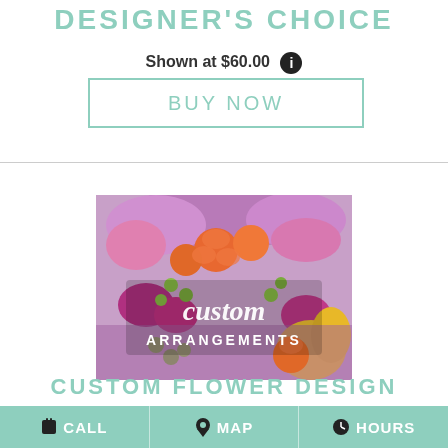DESIGNER'S CHOICE
Shown at $60.00
BUY NOW
[Figure (photo): A colorful custom flower arrangement featuring orange roses, purple hydrangeas, pink stock, carnations, and green berries with a yellow bow. Text overlay reads 'custom ARRANGEMENTS'.]
CUSTOM FLOWER DESIGN
CALL   MAP   HOURS